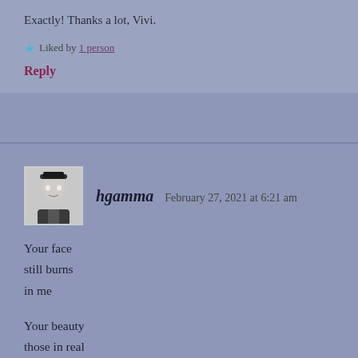Exactly! Thanks a lot, Vivi.
★ Liked by 1 person
Reply
hgamma   February 27, 2021 at 6:21 am
Your face
still burns
in me

Your beauty
those in real
Life faded

You are inside of me